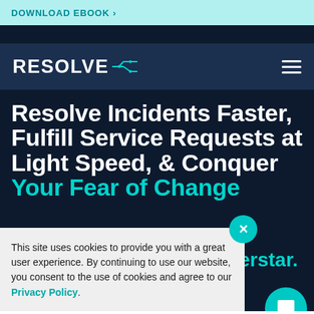DOWNLOAD EBOOK ›
[Figure (logo): Resolve logo with circuit-board icon and hamburger menu icon on dark navy navbar]
Resolve Incidents Faster, Fulfill Service Requests at Light Speed, & Conquer Your Fear of Change
This site uses cookies to provide you with a great user experience. By continuing to use our website, you consent to the use of cookies and agree to our Privacy Policy.
automation make your Service Desk a superstar.